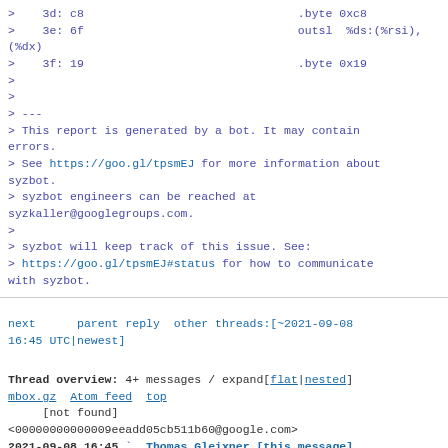>    3d: c8                               .byte 0xc8
>    3e: 6f                               outsl  %ds:(%rsi),(%dx)
>    3f: 19                               .byte 0x19
>
>
> ---
> This report is generated by a bot. It may contain errors.
> See https://goo.gl/tpsmEJ for more information about syzbot.
> syzbot engineers can be reached at syzkaller@googlegroups.com.
>
> syzbot will keep track of this issue. See:
> https://goo.gl/tpsmEJ#status for how to communicate with syzbot.
next      parent reply  other threads:[~2021-09-08 16:45 UTC|newest]

Thread overview: 4+ messages / expand[flat|nested]
mbox.gz  Atom feed  top
     [not found]
<00000000000009eeadd05cb511b60@google.com>
2021-09-08 16:45  ` Thomas Gleixner [this message]
2021-09-08 17:02  ` Jens Axboe
2021-09-08 17:20    ` Jens Axboe
2021-09-08 21:11      ` Thomas Gleixner